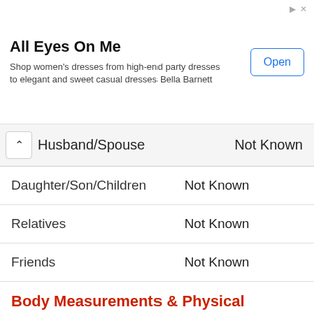[Figure (other): Advertisement banner: 'All Eyes On Me' - Shop women's dresses from high-end party dresses to elegant and sweet casual dresses Bella Barnett, with an 'Open' button]
| Category | Value |
| --- | --- |
| Husband/Spouse | Not Known |
| Daughter/Son/Children | Not Known |
| Relatives | Not Known |
| Friends | Not Known |
Body Measurements & Physical Appearances
| Category | Value |
| --- | --- |
| Height | 157 cm
1.57 m
5 ft 2 in |